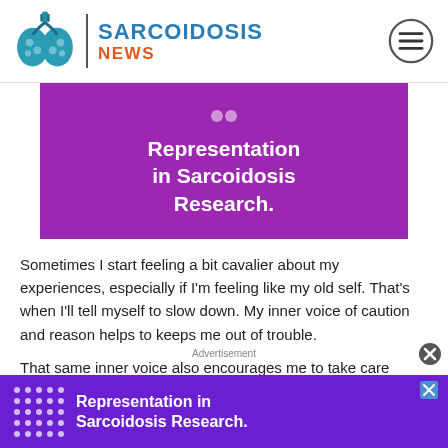SARCOIDOSIS NEWS
[Figure (illustration): Purple banner with white bold text: Representation in Sarcoidosis Research.]
Sometimes I start feeling a bit cavalier about my experiences, especially if I'm feeling like my old self. That's when I'll tell myself to slow down. My inner voice of caution and reason helps to keeps me out of trouble.
That same inner voice also encourages me to take care of my own difference between the two: A caregiver is
Advertisement
[Figure (illustration): Purple advertisement banner: Representation in Sarcoidosis Research.]